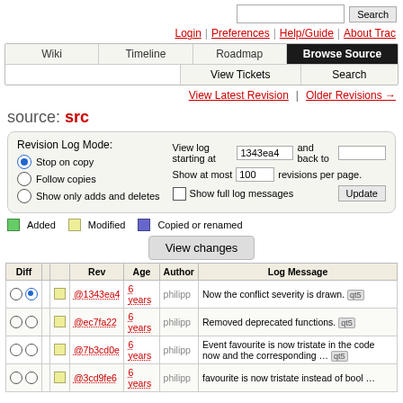Search [search bar] | Login | Preferences | Help/Guide | About Trac
[Figure (screenshot): Navigation tab bar with Wiki, Timeline, Roadmap, Browse Source (active), View Tickets, Search]
View Latest Revision | Older Revisions →
source: src
[Figure (screenshot): Revision Log Mode box with options: Stop on copy (selected), Follow copies, Show only adds and deletes. View log starting at 1343ea4 and back to [blank]. Show at most 100 revisions per page. Show full log messages checkbox. Update button.]
Added   Modified   Copied or renamed
View changes
| Diff |  |  | Rev | Age | Author | Log Message |
| --- | --- | --- | --- | --- | --- | --- |
| ○ | ● | □ | @1343ea4 | 6 years | philipp | Now the conflict severity is drawn. qt5 |
| ○ | ○ | □ | @ec7fa22 | 6 years | philipp | Removed deprecated functions. qt5 |
| ○ | ○ | □ | @7b3cd0e | 6 years | philipp | Event favourite is now tristate in the code now and the corresponding … qt5 |
| ○ | ○ | □ | @3cd9fe6 | 6 years | philipp | favourite is now tristate instead of bool … |